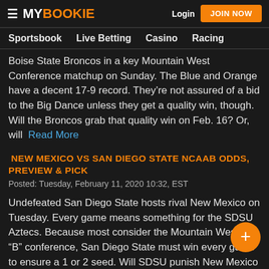MY BOOKIE | Login | JOIN NOW
Sportsbook  Live Betting  Casino  Racing
Boise State Broncos in a key Mountain West Conference matchup on Sunday. The Blue and Orange have a decent 17-9 record. They’re not assured of a bid to the Big Dance unless they get a quality win, though. Will the Broncos grab that quality win on Feb. 16? Or, will  Read More
NEW MEXICO VS SAN DIEGO STATE NCAAB ODDS, PREVIEW & PICK
Posted: Tuesday, February 11, 2020 10:32, EST
Undefeated San Diego State hosts rival New Mexico on Tuesday. Every game means something for the SDSU Aztecs. Because most consider the Mountain West a “B” conference, San Diego State must win every game to ensure a 1 or 2 seed. Will SDSU punish New Mexico cover as a massive favorite? Or, will the Lobos keep this game close. Read More